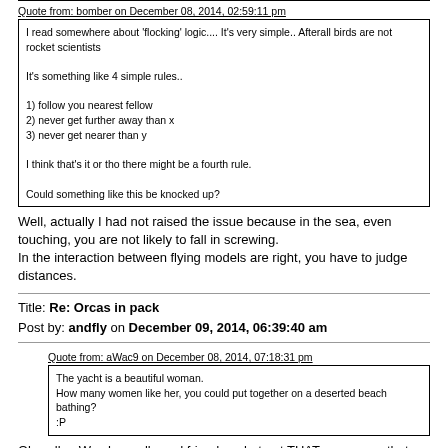Quote from: bomber on December 08, 2014, 02:59:11 pm
I read somewhere about 'flocking' logic.... It's very simple.. Afterall birds are not rocket scientists

It's something like 4 simple rules..

1) follow you nearest fellow
2) never get further away than x
3) never get nearer than y

I think that's it or tho there might be a fourth rule.

Could something like this be knocked up?
Well, actually I had not raised the issue because in the sea, even touching, you are not likely to fall in screwing.
In the interaction between flying models are right, you have to judge distances.
Title: Re: Orcas in pack
Post by: andfly on December 09, 2014, 06:39:40 am
Quote from: aWac9 on December 08, 2014, 07:18:31 pm
The yacht is a beautiful woman.
How many women like her, you could put together on a deserted beach bathing?
:P
Ok well ... We share all good friends ... but not THAT woman on that yacht .. ;D
Tempting to enjoy the beaches deserted in good company and maybe fill the beaches of swimmers (you might gain something with boat trips), but be careful; then came the sellers of